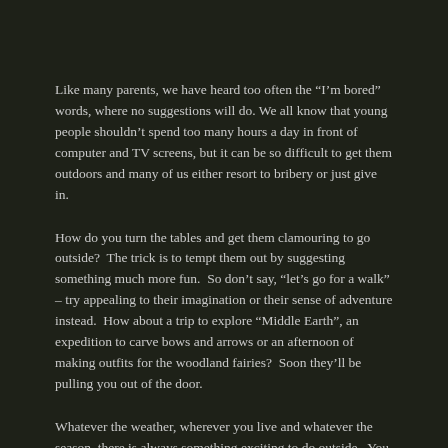Like many parents, we have heard too often the “I’m bored” words, where no suggestions will do. We all know that young people shouldn’t spend too many hours a day in front of computer and TV screens, but it can be so difficult to get them outdoors and many of us either resort to bribery or just give in.
How do you turn the tables and get them clamouring to go outside?  The trick is to tempt them out by suggesting something much more fun.  So don’t say, “let’s go for a walk” – try appealing to their imagination or their sense of adventure instead.  How about a trip to explore “Middle Earth”, an expedition to carve bows and arrows or an afternoon of making outfits for the woodland fairies?  Soon they’ll be pulling you out of the door.
Whatever the weather, wherever you live and whatever the season, there is always something exciting to do outside.  You don’t need modern technology or the latest toy or gadget; the natural world is full of excitement